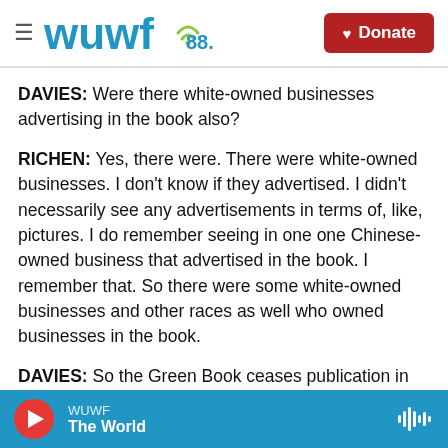[Figure (logo): WUWF 88.1 radio station logo with wifi icon, hamburger menu icon on left, and red Donate button on right]
DAVIES: Were there white-owned businesses advertising in the book also?
RICHEN: Yes, there were. There were white-owned businesses. I don't know if they advertised. I didn't necessarily see any advertisements in terms of, like, pictures. I do remember seeing in one one Chinese-owned business that advertised in the book. I remember that. So there were some white-owned businesses and other races as well who owned businesses in the book.
DAVIES: So the Green Book ceases publication in
WUWF  The World